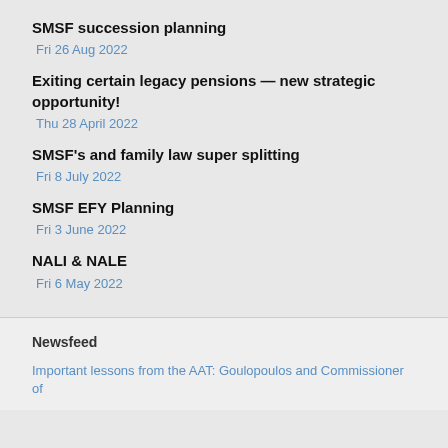SMSF succession planning
Fri 26 Aug 2022
Exiting certain legacy pensions — new strategic opportunity!
Thu 28 April 2022
SMSF's and family law super splitting
Fri 8 July 2022
SMSF EFY Planning
Fri 3 June 2022
NALI & NALE
Fri 6 May 2022
Newsfeed
Important lessons from the AAT: Goulopoulos and Commissioner of